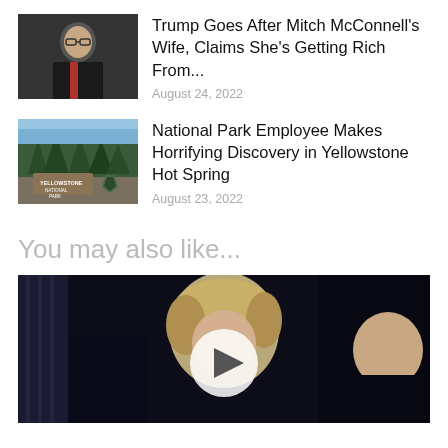[Figure (photo): Photo of Mitch McConnell in a suit with red tie at a press conference]
Trump Goes After Mitch McConnell's Wife, Claims She's Getting Rich From...
August 24, 2022
[Figure (photo): Yellowstone National Park entrance sign surrounded by trees]
National Park Employee Makes Horrifying Discovery in Yellowstone Hot Spring
August 23, 2022
You may also like...
[Figure (photo): Video thumbnail showing a woman with blonde hair and a play button overlay, dark background with other people in suits]